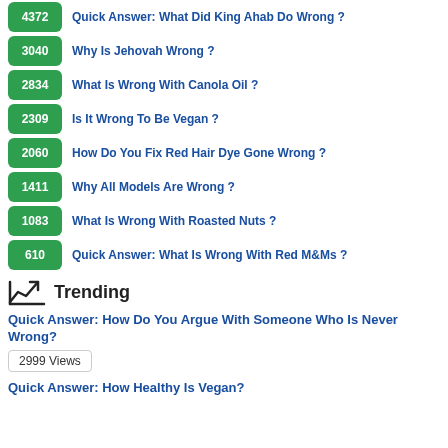4372 Quick Answer: What Did King Ahab Do Wrong ?
3040 Why Is Jehovah Wrong ?
2834 What Is Wrong With Canola Oil ?
2309 Is It Wrong To Be Vegan ?
2060 How Do You Fix Red Hair Dye Gone Wrong ?
1411 Why All Models Are Wrong ?
1083 What Is Wrong With Roasted Nuts ?
610 Quick Answer: What Is Wrong With Red M&Ms ?
Trending
Quick Answer: How Do You Argue With Someone Who Is Never Wrong?
2999 Views
Quick Answer: How Healthy Is Vegan?